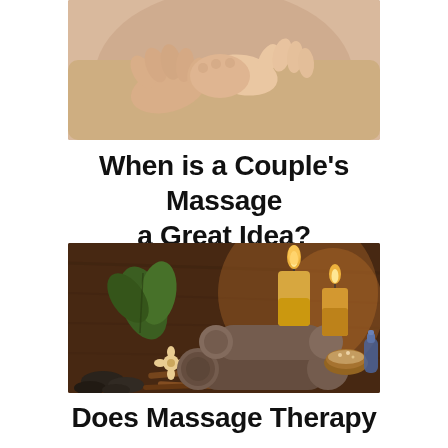[Figure (photo): Close-up of a massage therapist holding and massaging a person's hands, warm skin tones, beige background]
When is a Couple’s Massage a Great Idea?
[Figure (photo): Spa setting with rolled brown towels, lit candles, green plant, massage stones, and a small bowl of salts on a dark wooden surface]
Does Massage Therapy